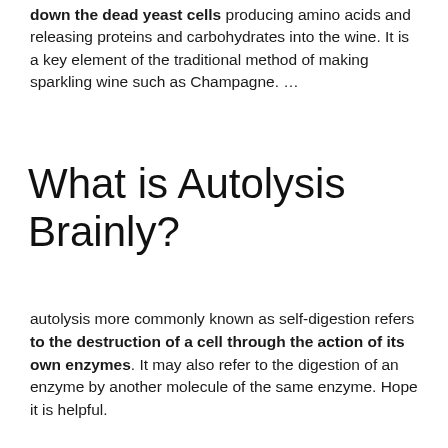down the dead yeast cells producing amino acids and releasing proteins and carbohydrates into the wine. It is a key element of the traditional method of making sparkling wine such as Champagne. …
What is Autolysis Brainly?
autolysis more commonly known as self-digestion refers to the destruction of a cell through the action of its own enzymes. It may also refer to the digestion of an enzyme by another molecule of the same enzyme. Hope it is helpful.